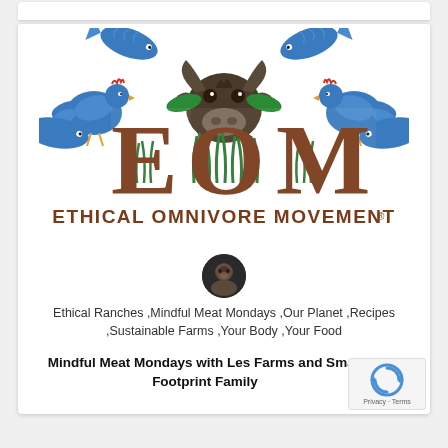[Figure (logo): Ethical Omnivore Movement (EOM) logo featuring blue illustrated animals (birds, fish, cow head) surrounding large brown distressed letters E, O, M with green grass elements, and the text 'ETHICAL OMNIVORE MOVEMENT' below with registered trademark symbol]
[Figure (photo): Circular profile photo of a person's face against dark background]
Ethical Ranches ,Mindful Meat Mondays ,Our Planet ,Recipes ,Sustainable Farms ,Your Body ,Your Food
Mindful Meat Mondays with Les Farms and Small Footprint Family